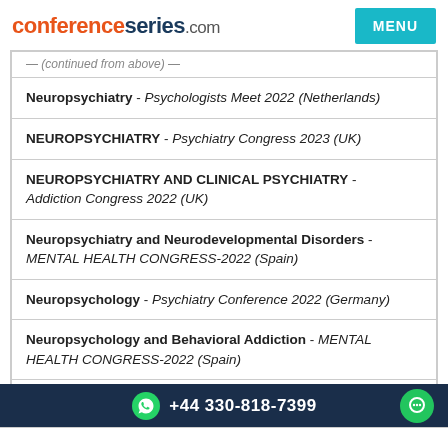conferenceseries.com
Neuropsychiatry - Psychologists Meet 2022 (Netherlands)
NEUROPSYCHIATRY - Psychiatry Congress 2023 (UK)
NEUROPSYCHIATRY AND CLINICAL PSYCHIATRY - Addiction Congress 2022 (UK)
Neuropsychiatry and Neurodevelopmental Disorders - MENTAL HEALTH CONGRESS-2022 (Spain)
Neuropsychology - Psychiatry Conference 2022 (Germany)
Neuropsychology and Behavioral Addiction - MENTAL HEALTH CONGRESS-2022 (Spain)
+44 330-818-7399